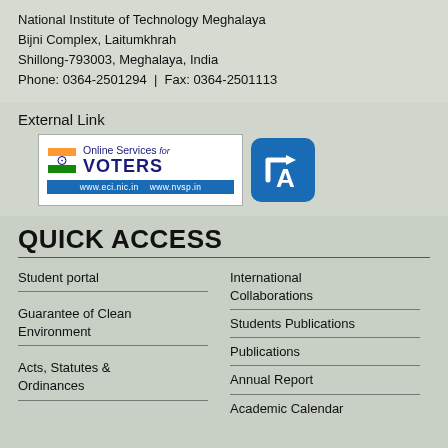National Institute of Technology Meghalaya
Bijni Complex, Laitumkhrah
Shillong-793003, Meghalaya, India
Phone: 0364-2501294 | Fax: 0364-2501113
External Link
[Figure (logo): Online Services for VOTERS logo with www.eci.nic.in and www.nvsp.in URLs, alongside a blue rounded square logo with stylized letter A and arrows]
QUICK ACCESS
Student portal
International Collaborations
Guarantee of Clean Environment
Students Publications
Publications
Acts, Statutes & Ordinances
Annual Report
Academic Calendar